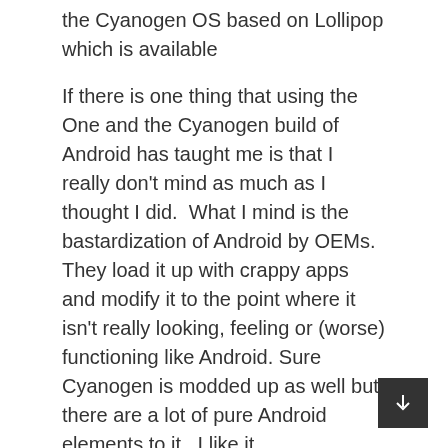the Cyanogen OS based on Lollipop which is available
If there is one thing that using the One and the Cyanogen build of Android has taught me is that I really don't mind as much as I thought I did.  What I mind is the bastardization of Android by OEMs.  They load it up with crappy apps and modify it to the point where it isn't really looking, feeling or (worse) functioning like Android. Sure Cyanogen is modded up as well but there are a lot of pure Android elements to it.  I like it.
PERFORMANCE
By definition, a device with 3GB of DDR3 RAM and a SnapDragon 801 Quad-Core processor should have performance in abundance.  But you know… and I know…  that we know that isn't always